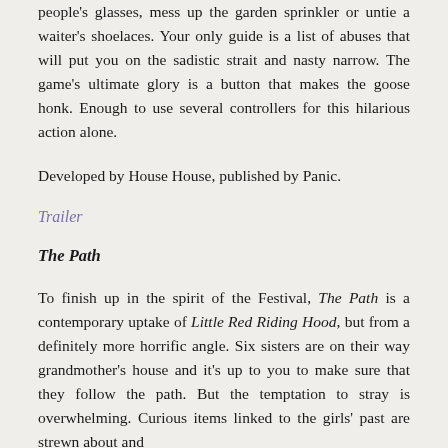people's glasses, mess up the garden sprinkler or untie a waiter's shoelaces. Your only guide is a list of abuses that will put you on the sadistic strait and nasty narrow. The game's ultimate glory is a button that makes the goose honk. Enough to use several controllers for this hilarious action alone.
Developed by House House, published by Panic.
Trailer
The Path
To finish up in the spirit of the Festival, The Path is a contemporary uptake of Little Red Riding Hood, but from a definitely more horrific angle. Six sisters are on their way grandmother's house and it's up to you to make sure that they follow the path. But the temptation to stray is overwhelming. Curious items linked to the girls' past are strewn about and